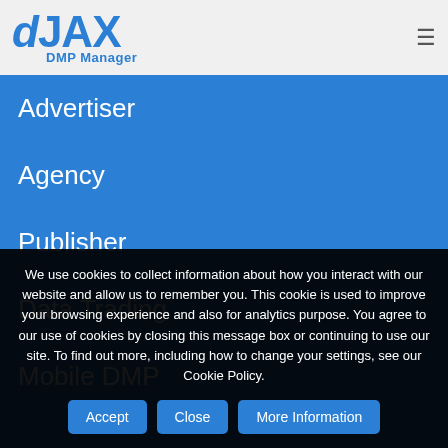[Figure (logo): dJAX DMP Manager logo in blue with stylized lowercase d and uppercase JAX text, subtitle reads DMP Manager]
Advertiser
Agency
Publisher
Data Trading
Mobile DMP
We use cookies to collect information about how you interact with our website and allow us to remember you. This cookie is used to improve your browsing experience and also for analytics purpose. You agree to our use of cookies by closing this message box or continuing to use our site. To find out more, including how to change your settings, see our Cookie Policy.